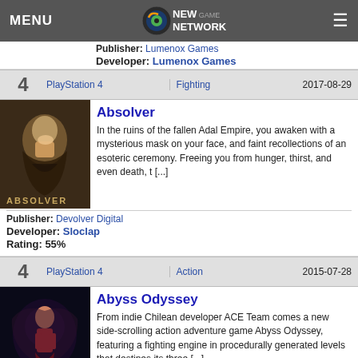MENU | New Game Network
Publisher: Lumenox Games
Developer: Lumenox Games
| 4 | PlayStation 4 | Fighting | 2017-08-29 |
| --- | --- | --- | --- |
[Figure (photo): Absolver game cover art showing a masked figure]
Absolver
In the ruins of the fallen Adal Empire, you awaken with a mysterious mask on your face, and faint recollections of an esoteric ceremony. Freeing you from hunger, thirst, and even death, t [...]
Publisher: Devolver Digital
Developer: Sloclap
Rating: 55%
| 4 | PlayStation 4 | Action | 2015-07-28 |
| --- | --- | --- | --- |
[Figure (photo): Abyss Odyssey game cover art]
Abyss Odyssey
From indie Chilean developer ACE Team comes a new side-scrolling action adventure game Abyss Odyssey, featuring a fighting engine in procedurally generated levels that destines its three [...]
Publisher: Atlus Software
Developer: ACE Team
| 4 | PlayStation 4 | Exploration | 2016-08-02 |
| --- | --- | --- | --- |